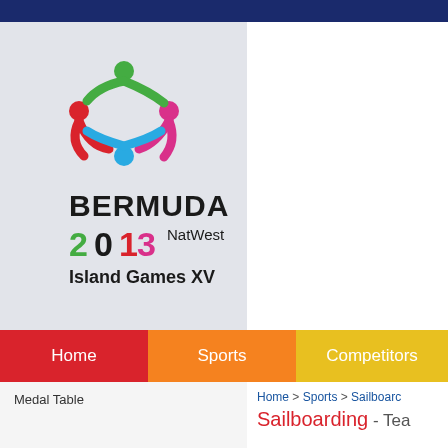[Figure (logo): Bermuda 2013 NatWest Island Games XV logo with colorful interlocking figures]
Home  Sports  Competitors
Medal Table
Home > Sports > Sailboarding
Sailboarding - Tea